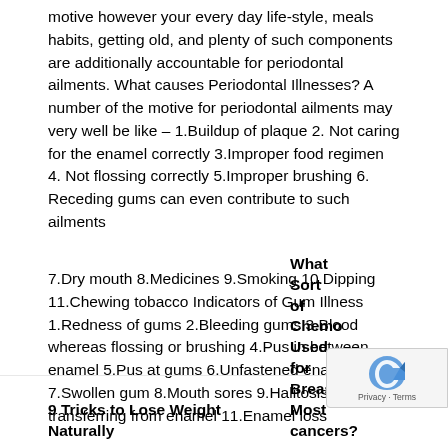motive however your every day life-style, meals habits, getting old, and plenty of such components are additionally accountable for periodontal ailments. What causes Periodontal Illnesses? A number of the motive for periodontal ailments may very well be like – 1.Buildup of plaque 2. Not caring for the enamel correctly 3.Improper food regimen 4. Not flossing correctly 5.Improper brushing 6. Receding gums can even contribute to such ailments
7.Dry mouth 8.Medicines 9.Smoking 10.Dipping 11.Chewing tobacco Indicators of Gum Illness 1.Redness of gums 2.Bleeding gums 3.Blood whereas flossing or brushing 4.Pus in between enamel 5.Pus at gums 6.Unfastened enamel 7.Swollen gum 8.Mouth sores 9.Halitosis 10. Gums transferring from enamel 11.Enamel loss
9 Tricks to Lose Weight Naturally
What Sort of Chemo Used for Breast Most cancers?